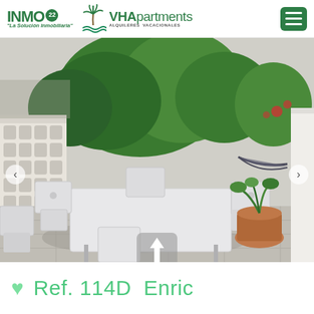[Figure (logo): INMO 22 'La Solución Inmobiliaria' and VHApartments Alquileres Vacacionales logos in header with green hamburger menu button]
[Figure (photo): Outdoor terrace/patio with white plastic table and chairs, lush green trees/bushes in background, ornate white balustrade wall on left, terracotta pot with plant on right, hammock visible in background right, sunny day with shadows on grey tile floor]
Ref. 114D  Enric